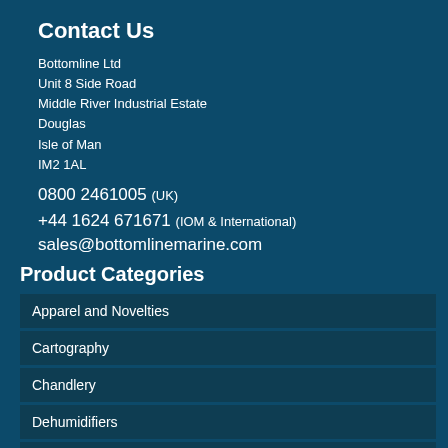Contact Us
Bottomline Ltd
Unit 8 Side Road
Middle River Industrial Estate
Douglas
Isle of Man
IM2 1AL
0800 2461005 (UK)
+44 1624 671671 (IOM & International)
sales@bottomlinemarine.com
Product Categories
Apparel and Novelties
Cartography
Chandlery
Dehumidifiers
Electrical
Electronics
Featured